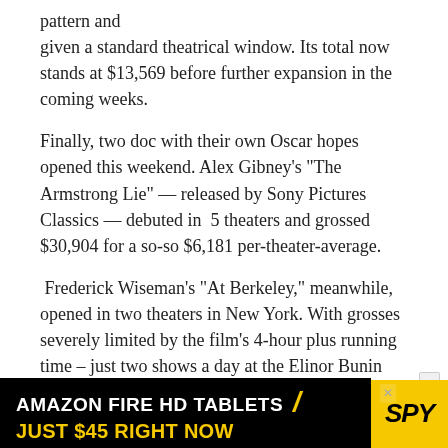pattern and given a standard theatrical window. Its total now stands at $13,569 before further expansion in the coming weeks.
Finally, two doc with their own Oscar hopes opened this weekend. Alex Gibney’s “The Armstrong Lie” — released by Sony Pictures Classics — debuted in  5 theaters and grossed $30,904 for a so-so $6,181 per-theater-average.
Frederick Wiseman’s “At Berkeley,” meanwhile, opened in two theaters in New York. With grosses severely limited by the film’s 4-hour plus running time – just two shows a day at the Elinor Bunin Monroe along with three at the IFC Center (one of them being a 1030am screening) — the film did quite well, grossing an estimated $6,075 for a per-theater-average of $3,038.
[Figure (other): Advertisement banner: AMAZON FIRE HD TABLETS / SPY logo — JUST $45 RIGHT NOW]